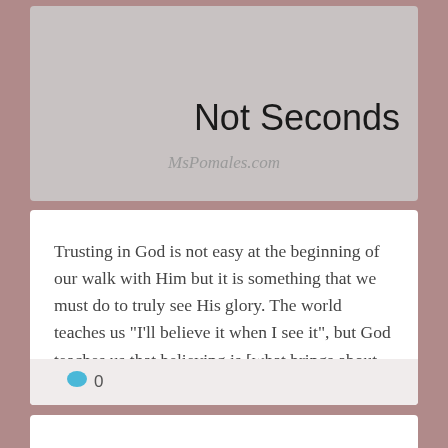Not Seconds
MsPomales.com
Trusting in God is not easy at the beginning of our walk with Him but it is something that we must do to truly see His glory. The world teaches us "I'll believe it when I see it", but God teaches us that believing is [what brings about the] seeing.
0
Faith or Fear